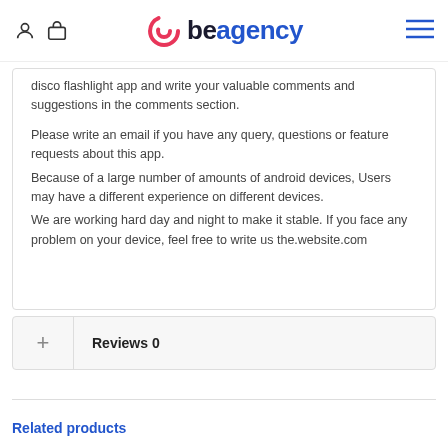beagency
disco flashlight app and write your valuable comments and suggestions in the comments section.

Please write an email if you have any query, questions or feature requests about this app.
Because of a large number of amounts of android devices, Users may have a different experience on different devices.
We are working hard day and night to make it stable. If you face any problem on your device, feel free to write us the.website.com
Reviews 0
Related products